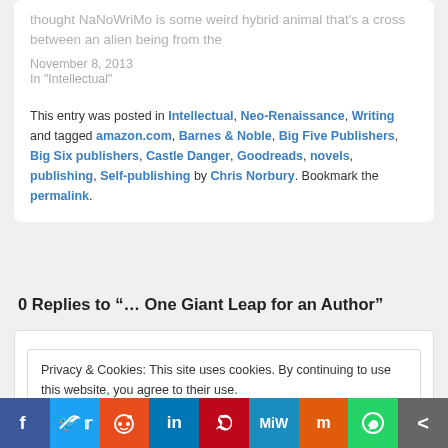thought NaNoWriMo is some weird hybrid animal that's a cross between an alien being from the
November 8, 2013
In "Intellectual"
This entry was posted in Intellectual, Neo-Renaissance, Writing and tagged amazon.com, Barnes & Noble, Big Five Publishers, Big Six publishers, Castle Danger, Goodreads, novels, publishing, Self-publishing by Chris Norbury. Bookmark the permalink.
0 Replies to "… One Giant Leap for an Author"
Privacy & Cookies: This site uses cookies. By continuing to use this website, you agree to their use.
To find out more, including how to control cookies, see here: Cookie Policy
Close and accept